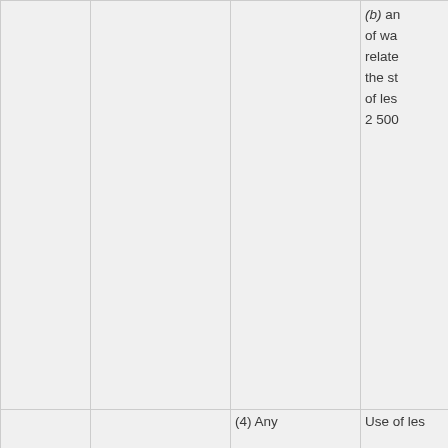|  |  |  | (b) an... of wa... relate... the st... of les... 2 500 |
|  |  | (4) Any... | Use of les... |